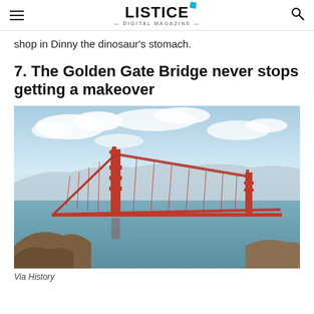LISTICE DIGITAL MAGAZINE
shop in Dinny the dinosaur's stomach.
7. The Golden Gate Bridge never stops getting a makeover
[Figure (photo): Aerial photograph of the Golden Gate Bridge in San Francisco, showing the iconic red-orange suspension bridge spanning the bay with the city skyline in the background under a partly cloudy sky.]
Via History